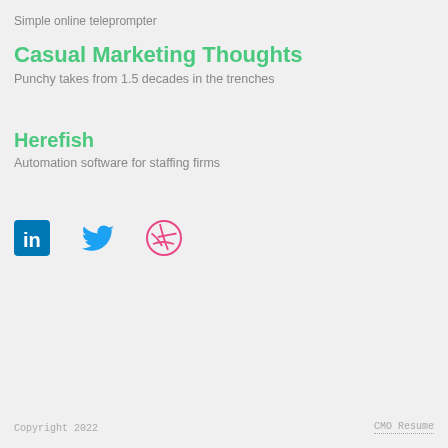Simple online teleprompter
Casual Marketing Thoughts
Punchy takes from 1.5 decades in the trenches
Herefish
Automation software for staffing firms
[Figure (logo): Three social media icons: LinkedIn (blue square with 'in'), Twitter (blue bird), Dribbble (pink basketball with lines)]
Copyright 2022
CMO Resume